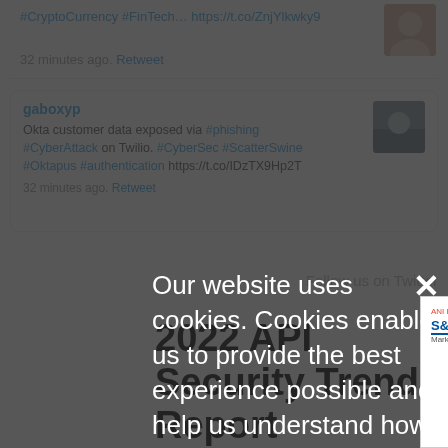#CryptoCurrency #FinTech... https://t.co/ZnjYlkwky9
32 minutes ago. Retweet
gaboxyp
Okta customer data exposed via #phishing #CyberAttack on Twilio. #CyberSec #ScatterSwine #Oktapus #authentication https://t.co/IDzTX9Hp2T
32 minutes ago. Retweet
Follow us on Twitter
Our website uses cookies. Cookies enable us to provide the best experience possible and help us understand how visitors use our website. By browsing inforisktoday.com, you agree to our use of cookies.
2022 API Security Trends Report
[Figure (logo): S&P Global Market Intelligence logo with ANI Research branding]